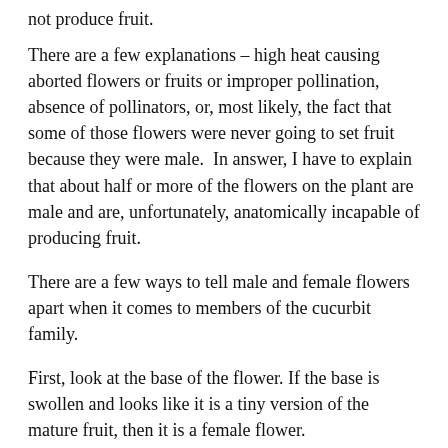not produce fruit.
There are a few explanations – high heat causing aborted flowers or fruits or improper pollination, absence of pollinators, or, most likely, the fact that some of those flowers were never going to set fruit because they were male.  In answer, I have to explain that about half or more of the flowers on the plant are male and are, unfortunately, anatomically incapable of producing fruit.
There are a few ways to tell male and female flowers apart when it comes to members of the cucurbit family.
First, look at the base of the flower. If the base is swollen and looks like it is a tiny version of the mature fruit, then it is a female flower.
If the base is in to...